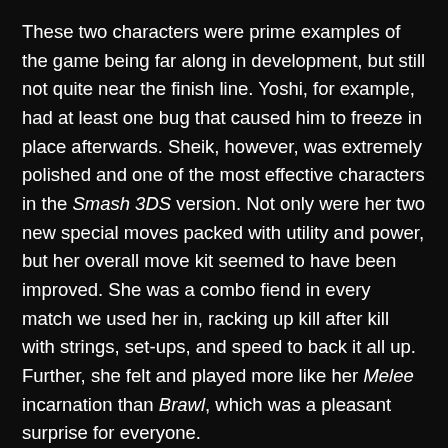These two characters were prime examples of the game being far along in development, but still not quite near the finish line. Yoshi, for example, had at least one bug that caused him to freeze in place afterwards. Sheik, however, was extremely polished and one of the most effective characters in the Smash 3DS version. Not only were her two new special moves packed with utility and power, but her overall move kit seemed to have been improved. She was a combo fiend in every match we used her in, racking up kill after kill with strings, set-ups, and speed to back it all up. Further, she felt and played more like her Melee incarnation than Brawl, which was a pleasant surprise for everyone.